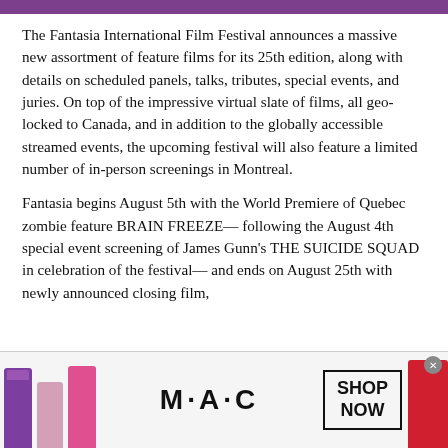The Fantasia International Film Festival announces a massive new assortment of feature films for its 25th edition, along with details on scheduled panels, talks, tributes, special events, and juries. On top of the impressive virtual slate of films, all geo-locked to Canada, and in addition to the globally accessible streamed events, the upcoming festival will also feature a limited number of in-person screenings in Montreal.
Fantasia begins August 5th with the World Premiere of Quebec zombie feature BRAIN FREEZE— following the August 4th special event screening of James Gunn's THE SUICIDE SQUAD in celebration of the festival— and ends on August 25th with newly announced closing film,
[Figure (illustration): MAC Cosmetics advertisement banner showing lipsticks in purple, pink, and red, with MAC logo and SHOP NOW button]